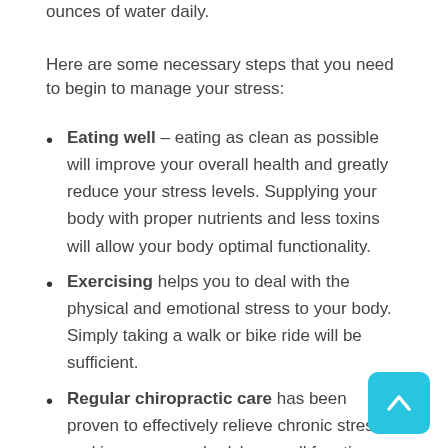ounces of water daily.
Here are some necessary steps that you need to begin to manage your stress:
Eating well – eating as clean as possible will improve your overall health and greatly reduce your stress levels. Supplying your body with proper nutrients and less toxins will allow your body optimal functionality.
Exercising helps you to deal with the physical and emotional stress to your body. Simply taking a walk or bike ride will be sufficient.
Regular chiropractic care has been proven to effectively relieve chronic stress and improve your body's overall function.
Most people don't realize how depriving themselves of